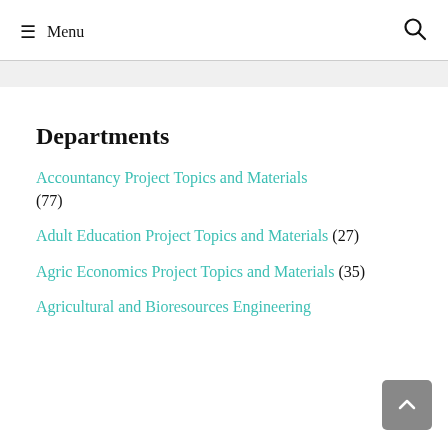≡ Menu 🔍
Departments
Accountancy Project Topics and Materials (77)
Adult Education Project Topics and Materials (27)
Agric Economics Project Topics and Materials (35)
Agricultural and Bioresources Engineering